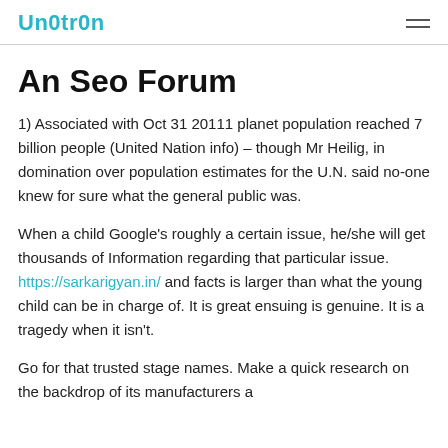Un0tr0n
An Seo Forum
1) Associated with Oct 31 20111 planet population reached 7 billion people (United Nation info) – though Mr Heilig, in domination over population estimates for the U.N. said no-one knew for sure what the general public was.
When a child Google's roughly a certain issue, he/she will get thousands of Information regarding that particular issue. https://sarkarigyan.in/ and facts is larger than what the young child can be in charge of. It is great ensuing is genuine. It is a tragedy when it isn't.
Go for that trusted stage names. Make a quick research on the backdrop of its manufacturers a